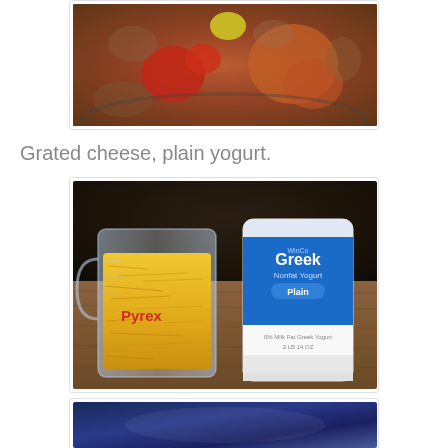[Figure (photo): Top portion of a cooking photo showing meat mixture in a pan with ketchup and mustard on top, partially cut off at the top of page]
Grated cheese, plain yogurt.
[Figure (photo): A Pyrex glass measuring cup filled with shredded yellow cheese next to a WinCo Greek plain yogurt container, both sitting on a wooden surface]
[Figure (photo): Bottom portion of another cooking photo, partially visible, cut off at bottom of page]